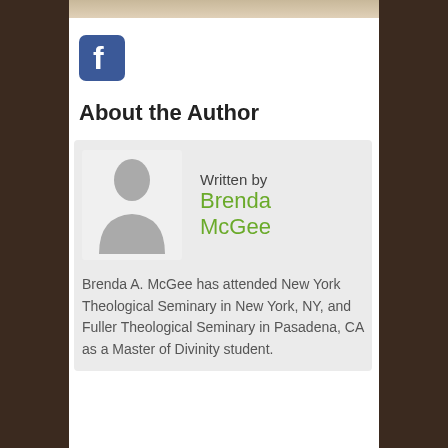[Figure (photo): Partial top strip of a decorative/textile image visible at the top of the page]
[Figure (logo): Facebook logo icon - blue square with white 'f' letter]
About the Author
[Figure (other): Author card with silhouette avatar placeholder, 'Written by' label, and author name 'Brenda McGee']
Brenda A. McGee has attended New York Theological Seminary in New York, NY, and Fuller Theological Seminary in Pasadena, CA as a Master of Divinity student.